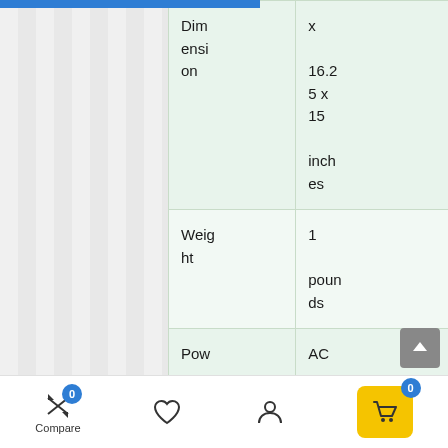|  |  |
| --- | --- |
| Dimension | x 16.25 x 15 inches |
| Weight | 1 pounds |
| Power Source | AC |
Compare | [heart] | [user] | [cart 0]